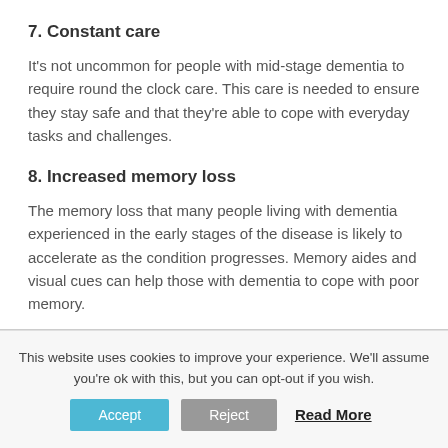7. Constant care
It’s not uncommon for people with mid-stage dementia to require round the clock care. This care is needed to ensure they stay safe and that they’re able to cope with everyday tasks and challenges.
8. Increased memory loss
The memory loss that many people living with dementia experienced in the early stages of the disease is likely to accelerate as the condition progresses. Memory aides and visual cues can help those with dementia to cope with poor memory.
This website uses cookies to improve your experience. We’ll assume you’re ok with this, but you can opt-out if you wish.